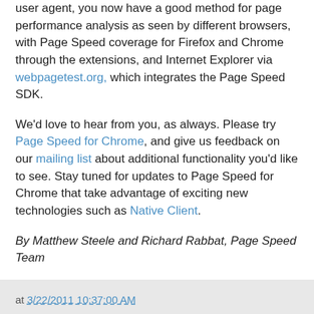user agent, you now have a good method for page performance analysis as seen by different browsers, with Page Speed coverage for Firefox and Chrome through the extensions, and Internet Explorer via webpagetest.org, which integrates the Page Speed SDK.
We'd love to hear from you, as always. Please try Page Speed for Chrome, and give us feedback on our mailing list about additional functionality you'd like to see. Stay tuned for updates to Page Speed for Chrome that take advantage of exciting new technologies such as Native Client.
By Matthew Steele and Richard Rabbat, Page Speed Team
at 3/22/2011 10:37:00 AM
Share
8 comments:
Brainerd Minnesota Web Consultant 3/22/2011 11:42